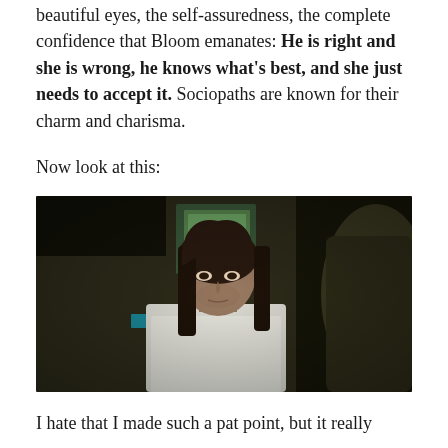beautiful eyes, the self-assuredness, the complete confidence that Bloom emanates: He is right and she is wrong, he knows what's best, and she just needs to accept it. Sociopaths are known for their charm and charisma.
Now look at this:
[Figure (photo): A dark, moody film still showing a man with long dark hair in a white shirt, looking intently, with another figure partially visible in the foreground right, and a green-lit window in the background.]
I hate that I made such a pat point, but it really